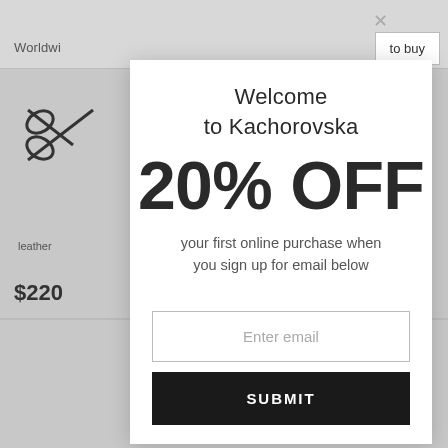[Figure (screenshot): Background webpage showing Kachorovska website with logo, navigation, leather product and $220 price, partially obscured by modal overlay]
Welcome
to Kachorovska
20% OFF
your first online purchase when you sign up for email below
Enter email
SUBMIT